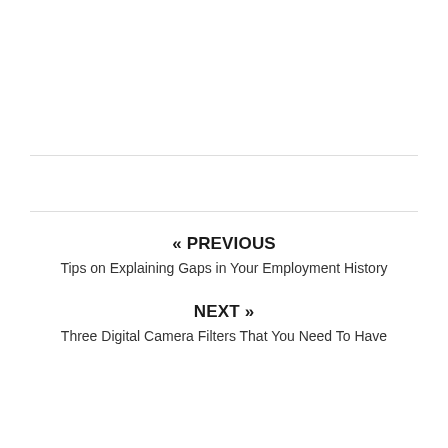« PREVIOUS
Tips on Explaining Gaps in Your Employment History
NEXT »
Three Digital Camera Filters That You Need To Have